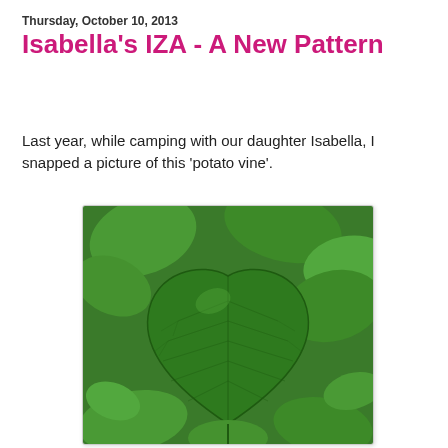Thursday, October 10, 2013
Isabella's IZA - A New Pattern
Last year, while camping with our daughter Isabella, I snapped a picture of this 'potato vine'.
[Figure (photo): Close-up photograph of a large heart-shaped green leaf from a potato vine plant, surrounded by other green leaves. The leaf shows prominent veining and the photo was taken outdoors.]